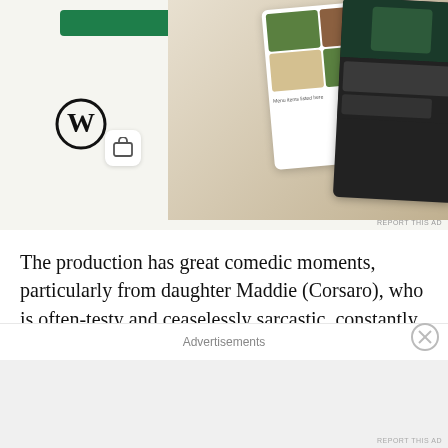[Figure (screenshot): Advertisement banner showing WordPress logo, a green button, an icon, and food/menu app screenshots on a beige background]
The production has great comedic moments, particularly from daughter Maddie (Corsaro), who is often-testy and ceaselessly sarcastic, constantly goading her brothers and hurling sly one-liners.  Older brother Tom (LiPomi), the family Priest, delivered a slew of great church-related humor. Younger brother Richard (or "Ricky", played by Phillip Buffone) had some great zingers too, though in the show's earlier scenes it's admittedly a little distracting for the "eccentric teenage son" to be
Advertisements